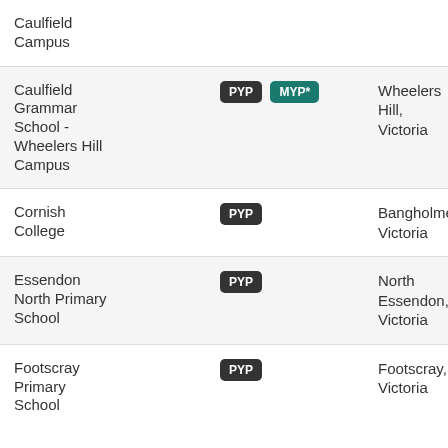| School | Programme | Location |
| --- | --- | --- |
| Caulfield Campus |  |  |
| Caulfield Grammar School - Wheelers Hill Campus | PYP, MYP* | Wheelers Hill, Victoria |
| Cornish College | PYP | Bangholme, Victoria |
| Essendon North Primary School | PYP | North Essendon, Victoria |
| Footscray Primary School | PYP | Footscray, Victoria |